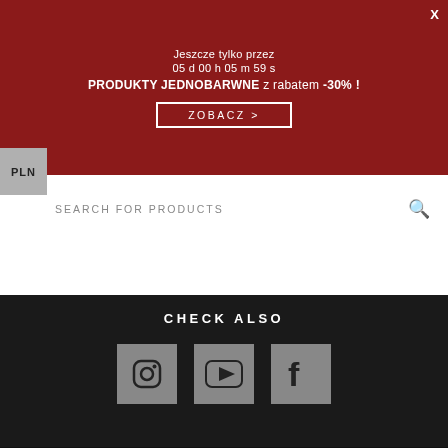Jeszcze tylko przez
05 d 00 h 05 m 59 s
PRODUKTY JEDNOBARWNE z rabatem -30% !
ZOBACZ >
X
PLN
SEARCH FOR PRODUCTS
CHECK ALSO
[Figure (logo): Instagram icon in grey square]
[Figure (logo): YouTube icon in grey square]
[Figure (logo): Facebook icon in grey square]
HOME    CONDITIONS